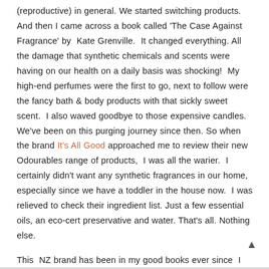(reproductive) in general. We started switching products. And then I came across a book called 'The Case Against Fragrance' by Kate Grenville. It changed everything. All the damage that synthetic chemicals and scents were having on our health on a daily basis was shocking! My high-end perfumes were the first to go, next to follow were the fancy bath & body products with that sickly sweet scent. I also waved goodbye to those expensive candles. We've been on this purging journey since then. So when the brand It's All Good approached me to review their new Odourables range of products, I was all the warier. I certainly didn't want any synthetic fragrances in our home, especially since we have a toddler in the house now. I was relieved to check their ingredient list. Just a few essential oils, an eco-cert preservative and water. That's all. Nothing else.

This NZ brand has been in my good books ever since I used & reviewed their products back in 2013 (linked), back when I had just started my blog. 7 years later, they are still their usual best.